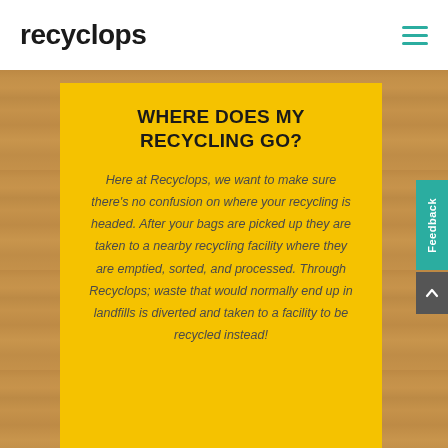recyclops
WHERE DOES MY RECYCLING GO?
Here at Recyclops, we want to make sure there's no confusion on where your recycling is headed. After your bags are picked up they are taken to a nearby recycling facility where they are emptied, sorted, and processed. Through Recyclops; waste that would normally end up in landfills is diverted and taken to a facility to be recycled instead!